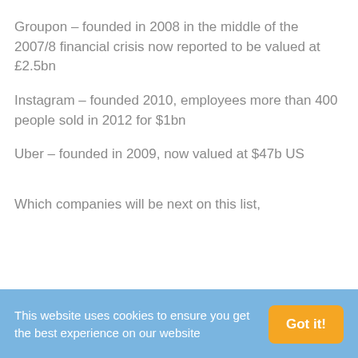Groupon – founded in 2008 in the middle of the 2007/8 financial crisis now reported to be valued at £2.5bn
Instagram – founded 2010, employees more than 400 people sold in 2012 for $1bn
Uber – founded in 2009, now valued at $47b US
Which companies will be next on this list, founded before built on this premise?
This website uses cookies to ensure you get the best experience on our website